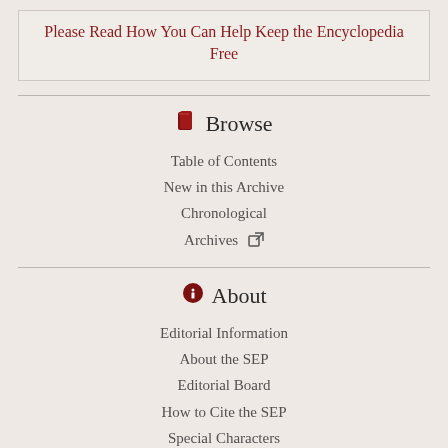Please Read How You Can Help Keep the Encyclopedia Free
Browse
Table of Contents
New in this Archive
Chronological Archives
About
Editorial Information
About the SEP
Editorial Board
How to Cite the SEP
Special Characters
Contact